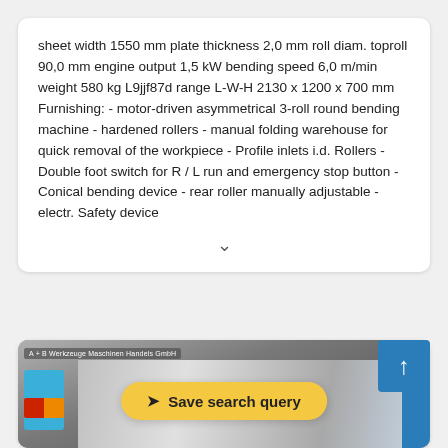sheet width 1550 mm plate thickness 2,0 mm roll diam. toproll 90,0 mm engine output 1,5 kW bending speed 6,0 m/min weight 580 kg L9jjf87d range L-W-H 2130 x 1200 x 700 mm Furnishing: - motor-driven asymmetrical 3-roll round bending machine - hardened rollers - manual folding warehouse for quick removal of the workpiece - Profile inlets i.d. Rollers - Double foot switch for R / L run and emergency stop button - Conical bending device - rear roller manually adjustable - electr. Safety device
[Figure (photo): Photo of an industrial roll bending machine (asymmetrical 3-roll round bending machine) with blue and red components visible. A company label 'A + B Werkzeuge Maschinen Handels GmbH' is shown at the top left of the image.]
Save search query